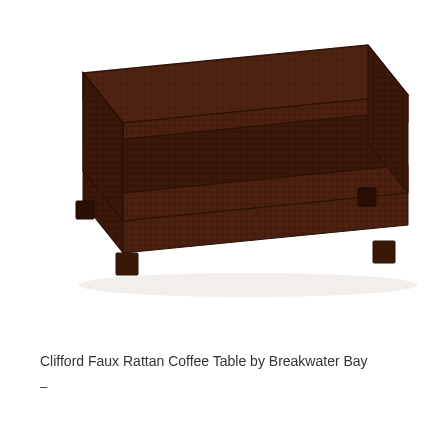[Figure (photo): A dark brown faux rattan coffee table with a rectangular top surface, an open lower shelf, and four short block feet. The table has a woven rattan-style texture on all visible surfaces. The table is photographed at an angle on a white background.]
Clifford Faux Rattan Coffee Table by Breakwater Bay
–